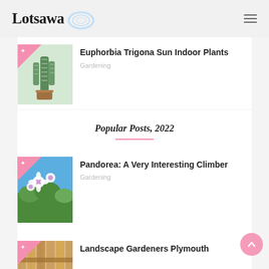Lotsawa
[Figure (photo): Euphorbia Trigona cactus plant thumbnail with pink badge]
Euphorbia Trigona Sun Indoor Plants
Gardening
Popular Posts, 2022
[Figure (photo): Pandorea flower climbing plant thumbnail with pink badge]
Pandorea: A Very Interesting Climber
Gardening
[Figure (photo): Landscape Gardeners Plymouth thumbnail with pink badge]